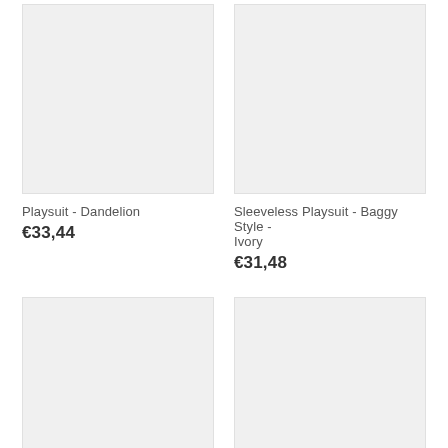[Figure (photo): Product image placeholder for Playsuit - Dandelion, light gray rectangle]
Playsuit - Dandelion
€33,44
[Figure (photo): Product image placeholder for Sleeveless Playsuit - Baggy Style - Ivory, light gray rectangle]
Sleeveless Playsuit - Baggy Style - Ivory
€31,48
[Figure (photo): Product image placeholder, bottom left, light gray rectangle]
[Figure (photo): Product image placeholder, bottom right, light gray rectangle]